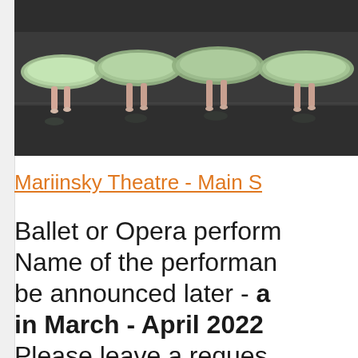[Figure (photo): Ballet dancers on stage wearing light green/mint tutus, photographed from behind, standing on pointe on a dark stage floor]
Mariinsky Theatre - Main S
Ballet or Opera perform Name of the performan be announced later - a in March - April 2022 Please leave a reques